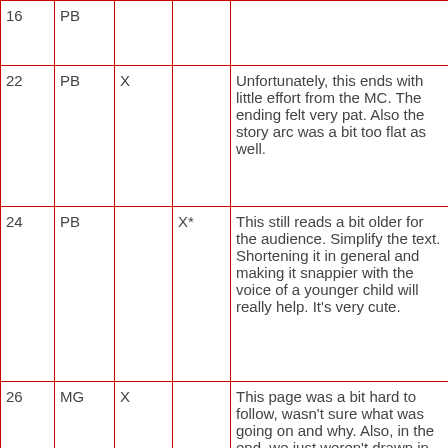| 16 | PB |  |  |  |
| 22 | PB | X |  | Unfortunately, this ends with little effort from the MC. The ending felt very pat. Also the story arc was a bit too flat as well. |
| 24 | PB |  | X* | This still reads a bit older for the audience. Simplify the text. Shortening it in general and making it snappier with the voice of a younger child will really help. It's very cute. |
| 26 | MG | X |  | This page was a bit hard to follow, wasn't sure what was going on and why. Also, in the end, we just weren't drawn in by the species themselves and what they may be trying to |